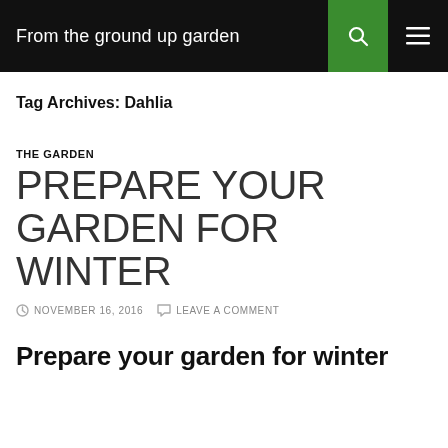From the ground up garden
Tag Archives: Dahlia
THE GARDEN
PREPARE YOUR GARDEN FOR WINTER
NOVEMBER 16, 2016   LEAVE A COMMENT
Prepare your garden for winter